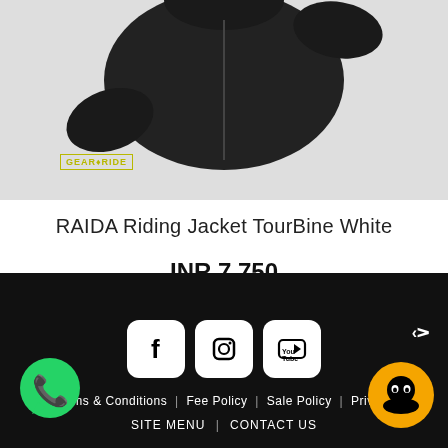[Figure (photo): Black riding jacket product photo on light grey background with GEAR FOR RIDE logo watermark]
RAIDA Riding Jacket TourBine White
INR 7,750
[Figure (infographic): Footer with social media icons (Facebook, Instagram, YouTube), navigation links: Terms & Conditions | Fee Policy | Sale Policy | Privacy, SITE MENU | CONTACT US, WhatsApp button, chat button, scroll-to-top arrow]
Terms & Conditions | Fee Policy | Sale Policy | Privacy | SITE MENU | CONTACT US